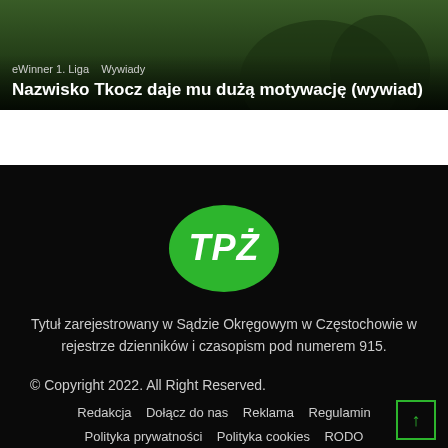[Figure (photo): Sports article card with dark green background showing players, with tags 'eWinner 1. Liga' and 'Wywiady', and headline text overlay.]
Nazwisko Tkocz daje mu dużą motywację (wywiad)
[Figure (logo): TPŻ logo — white italic bold text on green circle]
Tytuł zarejestrowany w Sądzie Okręgowym w Częstochowie w rejestrze dzienników i czasopism pod numerem 915.
© Copyright 2022. All Right Reserved.
Redakcja   Dołącz do nas   Reklama   Regulamin   Polityka prywatności   Polityka cookies   RODO